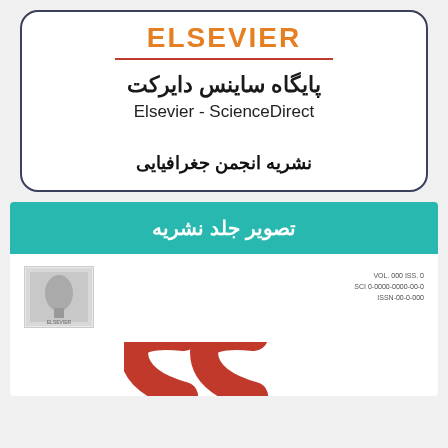[Figure (logo): ELSEVIER logo with orange text, topped by a red horizontal underline, inside a rounded-corner card with dark border]
پایگاه ساینس دایرکت
Elsevier - ScienceDirect
نشریه انجمن جغرافیایی
تصویر جلد نشریه
[Figure (photo): Journal cover image showing Elsevier logo/stamp on left, volume/issue metadata text on right, and a partial red curved letter at the bottom]